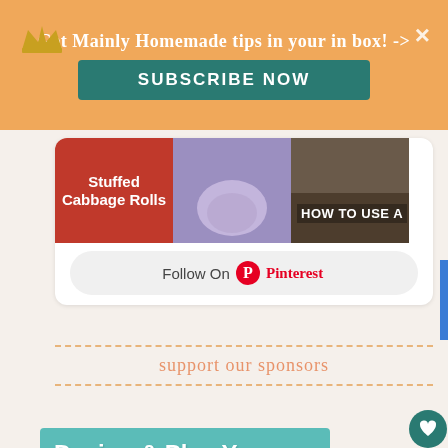Get Mainly Homemade tips in your in box! ->
SUBSCRIBE NOW
[Figure (screenshot): Three Pinterest image thumbnails: Stuffed Cabbage Rolls (red background), hands kneading dough (purple background), and HOW TO USE A [something] (dark background with text overlay)]
Follow On Pinterest
support our sponsors
[Figure (screenshot): Advertisement banner: 'Design & Plan Your Way' on teal background with orange bar below]
[Figure (screenshot): Topgolf advertisement showing Dine-in with checkmark and Delivery with X, plus navigation icon]